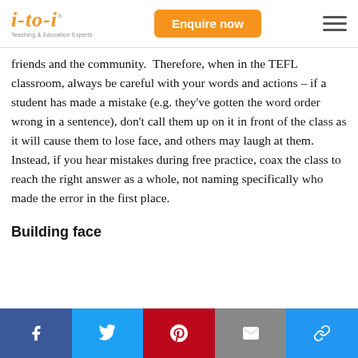i-to-i Teaching & Education Experts | Enquire now
friends and the community.  Therefore, when in the TEFL classroom, always be careful with your words and actions – if a student has made a mistake (e.g. they've gotten the word order wrong in a sentence), don't call them up on it in front of the class as it will cause them to lose face, and others may laugh at them.  Instead, if you hear mistakes during free practice, coax the class to reach the right answer as a whole, not naming specifically who made the error in the first place.
Building face
Social share bar: Facebook, Twitter, Pinterest, Email, Link